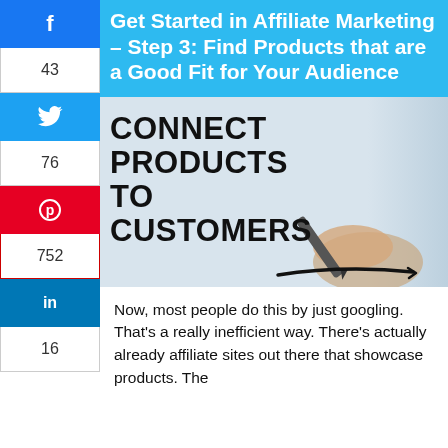Get Started in Affiliate Marketing – Step 3: Find Products that are a Good Fit for Your Audience
[Figure (illustration): Promotional image with bold text 'CONNECT PRODUCTS TO CUSTOMERS' with a hand holding a pen/marker, on a light background]
Now, most people do this by just googling. That's a really inefficient way. There's actually already affiliate sites out there that showcase products. The